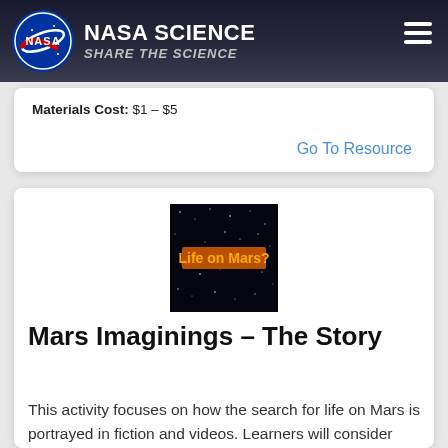NASA SCIENCE SHARE THE SCIENCE
Materials Cost: $1 - $5
Go To Resource
[Figure (illustration): Black starfield image with orange text reading 'Life on Mars?']
Mars Imaginings – The Story
This activity focuses on how the search for life on Mars is portrayed in fiction and videos. Learners will consider depictions of Mars from science fiction books and video clips.
Audience: Informal education, Elementary